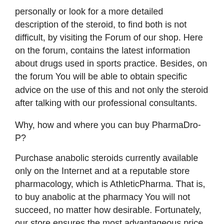personally or look for a more detailed description of the steroid, to find both is not difficult, by visiting the Forum of our shop. Here on the forum, contains the latest information about drugs used in sports practice. Besides, on the forum You will be able to obtain specific advice on the use of this and not only the steroid after talking with our professional consultants.
Why, how and where you can buy PharmaDro-P?
Purchase anabolic steroids currently available only on the Internet and at a reputable store pharmacology, which is AthleticPharma. That is, to buy anabolic at the pharmacy You will not succeed, no matter how desirable. Fortunately, our store ensures the most advantageous price, quality, convenient and fast delivery of this and many other drugs used by athletes.